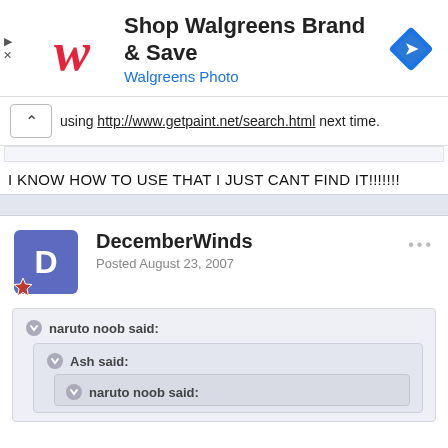[Figure (screenshot): Walgreens advertisement banner with logo, 'Shop Walgreens Brand & Save' heading, 'Walgreens Photo' subtext, and blue diamond navigation icon]
using http://www.getpaint.net/search.html next time.
I KNOW HOW TO USE THAT I JUST CANT FIND IT!!!!!!!
DecemberWinds
Posted August 23, 2007
naruto noob said:
Ash said:
naruto noob said: